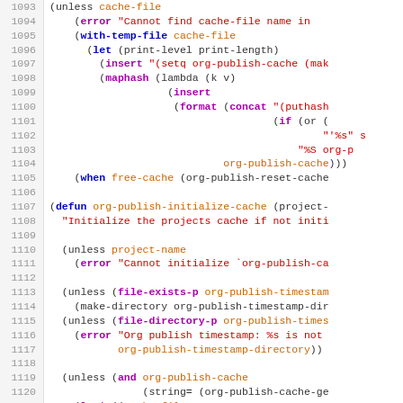[Figure (screenshot): Source code listing of Emacs Lisp code showing org-publish cache functions, lines 1093-1122+, with syntax highlighting: line numbers in grey, keywords in blue/magenta bold, strings in red, function names in orange/teal.]